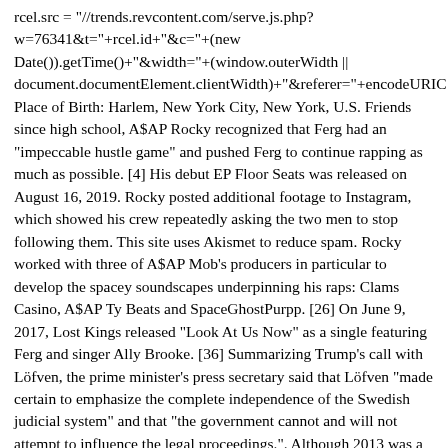rcel.src = "//trends.revcontent.com/serve.js.php?w=76341&t="+rcel.id+"&c="+(new Date()).getTime()+"&width="+(window.outerWidth || document.documentElement.clientWidth)+"&referer="+encodeURIC Place of Birth: Harlem, New York City, New York, U.S. Friends since high school, A$AP Rocky recognized that Ferg had an "impeccable hustle game" and pushed Ferg to continue rapping as much as possible. [4] His debut EP Floor Seats was released on August 16, 2019. Rocky posted additional footage to Instagram, which showed his crew repeatedly asking the two men to stop following them. This site uses Akismet to reduce spam. Rocky worked with three of A$AP Mob’s producers in particular to develop the spacey soundscapes underpinning his raps: Clams Casino, A$AP Ty Beats and SpaceGhostPurpp. [26] On June 9, 2017, Lost Kings released "Look At Us Now" as a single featuring Ferg and singer Ally Brooke. [36] Summarizing Trump’s call with Löfven, the prime minister’s press secretary said that Löfven “made certain to emphasize the complete independence of the Swedish judicial system” and that “the government cannot and will not attempt to influence the legal proceedings.”. Although 2013 was a vintage year for Rocky, his successes were bittersweet because his father had passed away in December 2012 (“See my Daddy in heaven, he be da realist G,” he tweeted). West has spoken out about racism and incarceration, too, and is famously chummy with Trump. A year later, his 20-year-old brother, Ricky, was shot